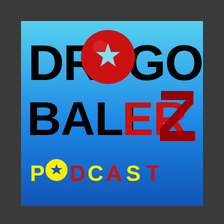[Figure (logo): Dragon Ballerz Podcast logo on a blue gradient background. Large bold black text reads DRAGON on top with a red circle (Dragon Ball with a star) replacing the O. Below reads BALLERZ with red lettering for ER. At the bottom in spaced yellow and red letters reads PODCAST.]